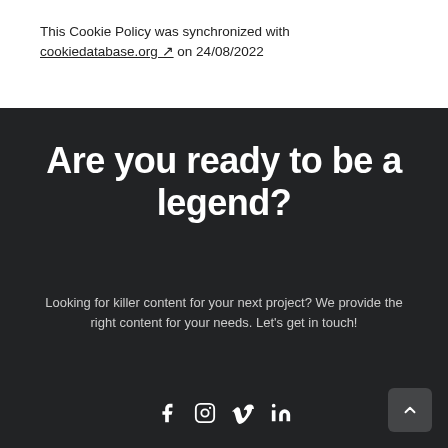This Cookie Policy was synchronized with cookiedatabase.org on 24/08/2022
Are you ready to be a legend?
Looking for killer content for your next project? We provide the right content for your needs. Let's get in touch!
[Figure (other): Social media icons row: Facebook, Instagram, Vimeo, LinkedIn]